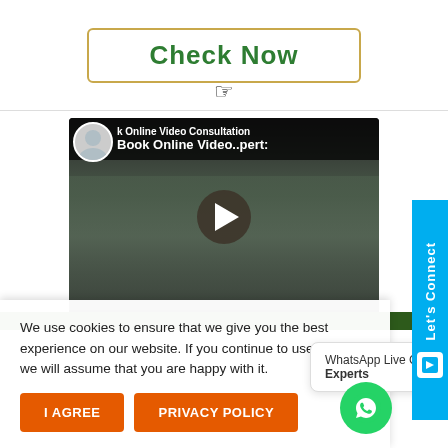[Figure (screenshot): Green styled 'Check Now' button with a hand cursor icon underneath, bordered with gold/amber color]
[Figure (screenshot): YouTube-style embedded video showing doctors in white coats with 'Book Online Video Consultation' title bar and a play button in the center]
We use cookies to ensure that we give you the best experience on our website. If you continue to use this site we will assume that you are happy with it.
WhatsApp Live Chat with our Experts
I AGREE
PRIVACY POLICY
Let's Connect